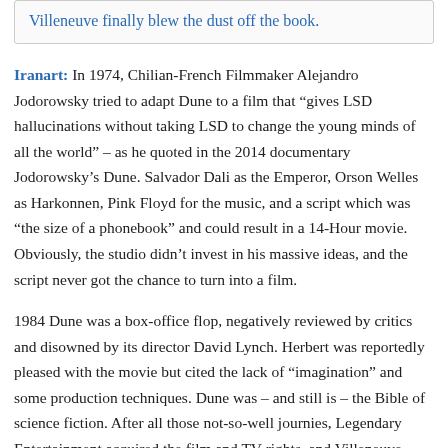Villeneuve finally blew the dust off the book.
Iranart: In 1974, Chilian-French Filmmaker Alejandro Jodorowsky tried to adapt Dune to a film that “gives LSD hallucinations without taking LSD to change the young minds of all the world” – as he quoted in the 2014 documentary Jodorowsky’s Dune. Salvador Dali as the Emperor, Orson Welles as Harkonnen, Pink Floyd for the music, and a script which was “the size of a phonebook” and could result in a 14-Hour movie. Obviously, the studio didn’t invest in his massive ideas, and the script never got the chance to turn into a film.
1984 Dune was a box-office flop, negatively reviewed by critics and disowned by its director David Lynch. Herbert was reportedly pleased with the movie but cited the lack of “imagination” and some production techniques. Dune was – and still is – the Bible of science fiction. After all those not-so-well journies, Legendary Entertainment acquired the film and TV rights, and Villeneuve appointed as the new cinematic guardian of Dune in 2017.
Dune: Part One was admired by critics (82% on Rotten Tomatoes and